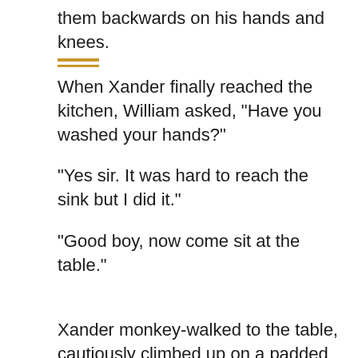them backwards on his hands and knees.
When Xander finally reached the kitchen, William asked, "Have you washed your hands?"
"Yes sir. It was hard to reach the sink but I did it."
"Good boy, now come sit at the table."
Xander monkey-walked to the table, cautiously climbed up on a padded chair and knelt on it. It was uncomfortable, and the metal of the humbler pressed painfully against his calves, but there was